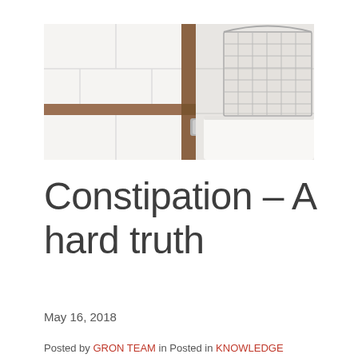[Figure (photo): Bathroom scene showing white tiled wall, wooden towel rack, and a wire mesh storage basket on top of a white toilet tank]
Constipation – A hard truth
May 16, 2018
Posted by GRON TEAM in Posted in KNOWLEDGE